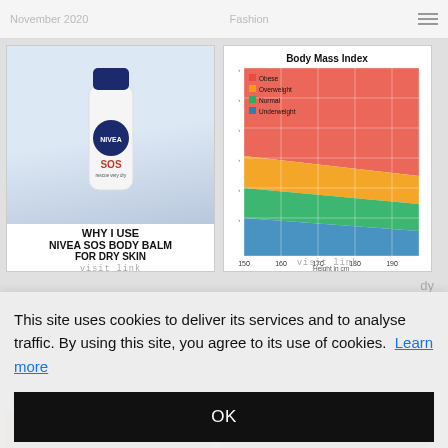November 2020 | Fashion
[Figure (photo): NIVEA SOS Body Balm product photo with text overlay: WHY I USE NIVEA SOS BODY BALM FOR DRY SKIN]
[Figure (continuous-plot): Body Mass Index chart showing colored bands (Obese red, Overweight orange/yellow, Normal green, Underweight blue) plotted against Height in cm (x-axis: 150-190) with weight on y-axis. Legend shows Obese, Overweight, Normal, Underweight.]
visit link
visit link
This site uses cookies to deliver its services and to analyse traffic. By using this site, you agree to its use of cookies. Learn more
OK